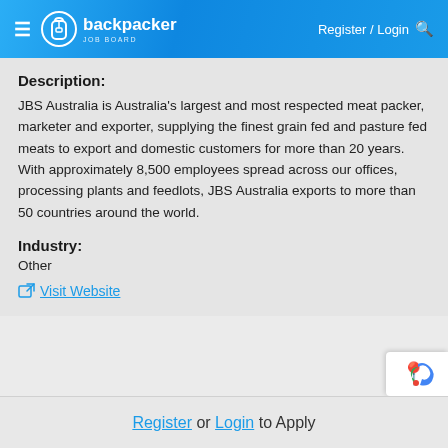backpacker JOB BOARD — Register / Login
Description:
JBS Australia is Australia's largest and most respected meat packer, marketer and exporter, supplying the finest grain fed and pasture fed meats to export and domestic customers for more than 20 years. With approximately 8,500 employees spread across our offices, processing plants and feedlots, JBS Australia exports to more than 50 countries around the world.
Industry:
Other
Visit Website
Register or Login to Apply